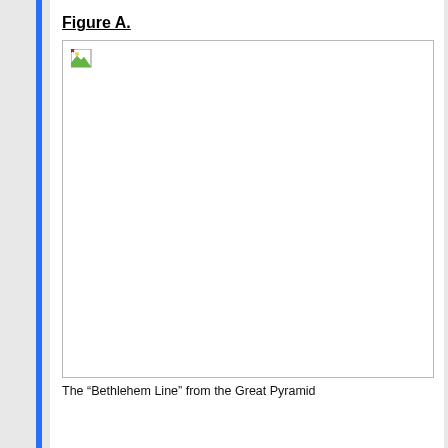Figure A.
[Figure (photo): A broken/missing image placeholder within a bordered rectangle, representing Figure A. The image failed to load and shows only a small broken image icon in the top-left corner.]
The “Bethlehem Line” from the Great Pyramid